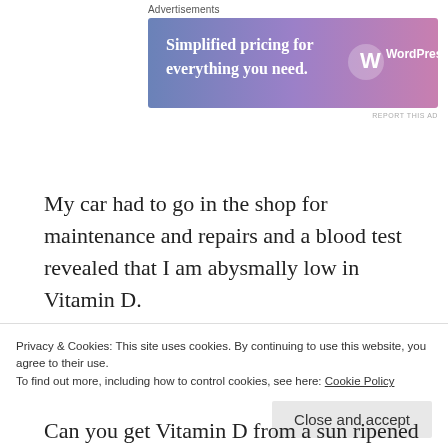Advertisements
[Figure (screenshot): WordPress.com advertisement banner with gradient purple-pink background. Text: 'Simplified pricing for everything you need.' with WordPress.com logo on the right.]
REPORT THIS AD
My car had to go in the shop for maintenance and repairs and a blood test revealed that I am abysmally low in Vitamin D.
Oh, November, how do I love thee?
Maybe November loves me back with these offerings from Mother Earth. I think I'll make a nice stir fry and save the basil for pesto or a Marguerita pizza. It's the
Can you get Vitamin D from a sun ripened pepper?
Privacy & Cookies: This site uses cookies. By continuing to use this website, you agree to their use.
To find out more, including how to control cookies, see here: Cookie Policy